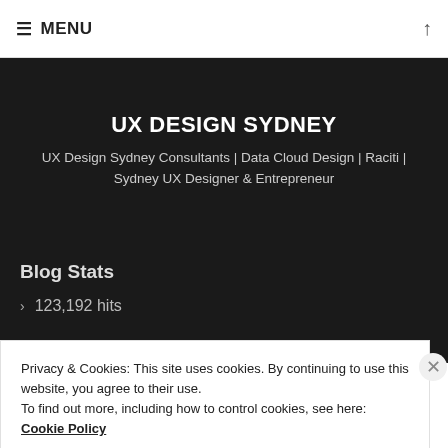≡ MENU ↑
UX DESIGN SYDNEY
UX Design Sydney Consultants | Data Cloud Design | Raciti | Sydney UX Designer & Entrepreneur
Blog Stats
> 123,192 hits
Privacy & Cookies: This site uses cookies. By continuing to use this website, you agree to their use.
To find out more, including how to control cookies, see here:
Cookie Policy
Close and accept